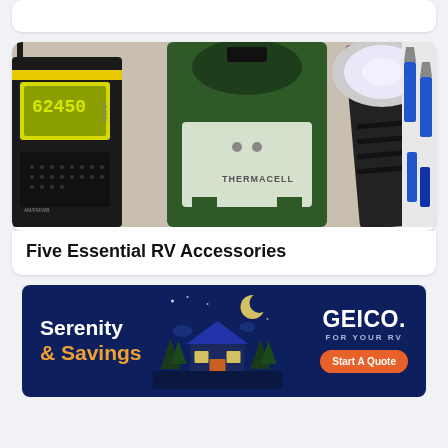[Figure (other): Partial top card with cut-off text at top of page]
[Figure (photo): Collage of RV accessories including a weather radio (NOAA, AM/FM/WB), a Thermacell mosquito repeller lantern, a black tactical flashlight, and blue-handled plier/tool set on white background]
Five Essential RV Accessories
[Figure (illustration): GEICO advertisement banner with dark navy background. Left side reads 'Serenity & Savings' in white and orange text. Center shows illustrated night scene with cabin/house and moon. Right side has GEICO logo, 'FOR YOUR RV' subtitle, and an orange 'Start A Quote' button.]